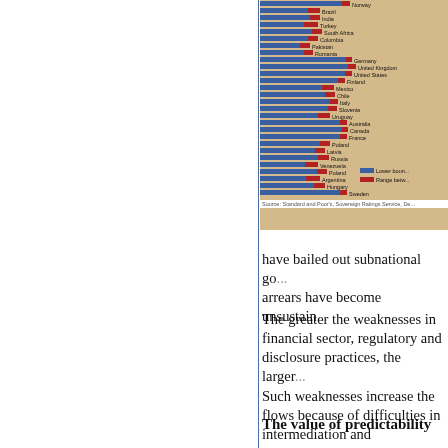[Figure (bar-chart): Horizontal bar chart showing lower bound (blue) and range between bounds (red) for sovereign credit ratings across multiple countries including Norway, Brazil, India, Turkey, South Africa, Colombia, Pakistan, Romania, Germany, United Kingdom, United States, Finland, Mexico, Chile, Italy, Slovenia, Uruguay, Australia, Canada, France, Poland, Latvia, Russia, Venezuela, Poland, Argentina, Hungary, Sweden]
Source: Standard and Poor's, Sovereign Ratings Service, De...
have bailed out subnational go... arrears have become unsustain...
The greater the weaknesses in financial sector, regulatory and disclosure practices, the larger... Such weaknesses increase the flows because of difficulties in intermediation and borrowing...
The value of predictability